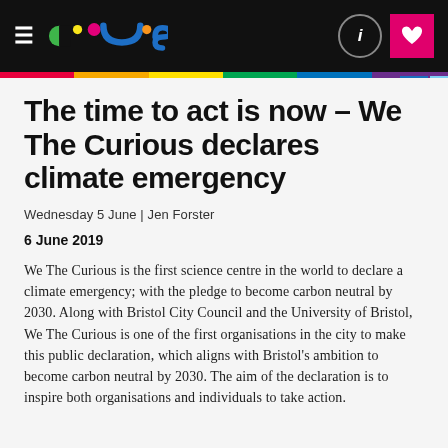We The Curious – navigation header with logo, hamburger menu, info icon, and heart/bookmark icon
The time to act is now – We The Curious declares climate emergency
Wednesday 5 June | Jen Forster
6 June 2019
We The Curious is the first science centre in the world to declare a climate emergency; with the pledge to become carbon neutral by 2030. Along with Bristol City Council and the University of Bristol, We The Curious is one of the first organisations in the city to make this public declaration, which aligns with Bristol's ambition to become carbon neutral by 2030. The aim of the declaration is to inspire both organisations and individuals to take action.